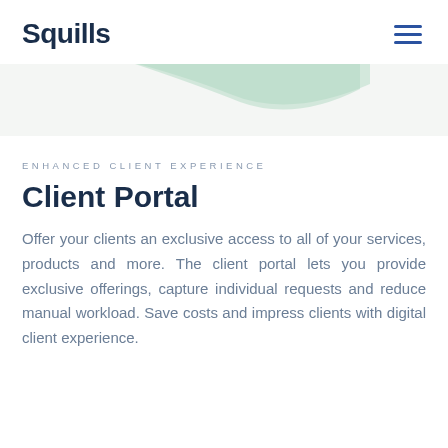Squills
[Figure (illustration): Decorative mint/green abstract curved shape on light grey background]
ENHANCED CLIENT EXPERIENCE
Client Portal
Offer your clients an exclusive access to all of your services, products and more. The client portal lets you provide exclusive offerings, capture individual requests and reduce manual workload. Save costs and impress clients with digital client experience.